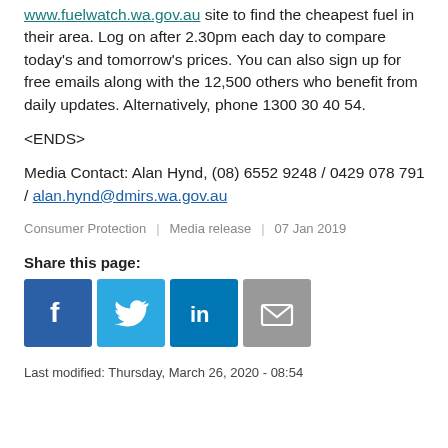www.fuelwatch.wa.gov.au site to find the cheapest fuel in their area. Log on after 2.30pm each day to compare today's and tomorrow's prices. You can also sign up for free emails along with the 12,500 others who benefit from daily updates. Alternatively, phone 1300 30 40 54.
<ENDS>
Media Contact: Alan Hynd, (08) 6552 9248 / 0429 078 791 / alan.hynd@dmirs.wa.gov.au
Consumer Protection | Media release | 07 Jan 2019
Share this page:
[Figure (infographic): Social share icons: Facebook (blue), Twitter (light blue), LinkedIn (blue), Email (grey)]
Last modified: Thursday, March 26, 2020 - 08:54